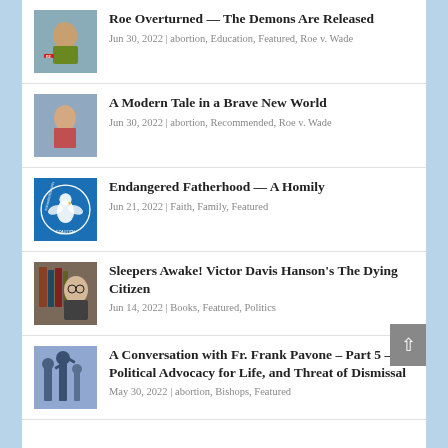Roe Overturned — The Demons Are Released
Jun 30, 2022 | abortion, Education, Featured, Roe v. Wade
A Modern Tale in a Brave New World
Jun 30, 2022 | abortion, Recommended, Roe v. Wade
Endangered Fatherhood — A Homily
Jun 21, 2022 | Faith, Family, Featured
Sleepers Awake! Victor Davis Hanson's The Dying Citizen
Jun 14, 2022 | Books, Featured, Politics
A Conversation with Fr. Frank Pavone – Part 5 – Political Advocacy for Life, and Threat of Dismissal
May 30, 2022 | abortion, Bishops, Featured